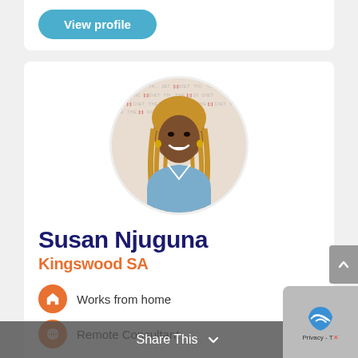[Figure (other): View profile button on white card background]
[Figure (photo): Profile photo of Susan Njuguna, a woman with long braided hair smiling, wearing a denim shirt, with watermark text background pattern]
Susan Njuguna
Kingswood SA
Works from home
Remote Consultant
Share This